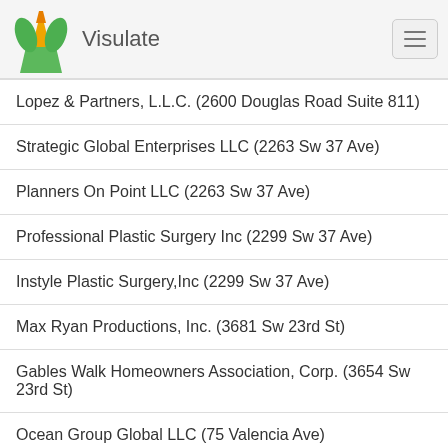Visulate
Lopez & Partners, L.L.C. (2600 Douglas Road Suite 811)
Strategic Global Enterprises LLC (2263 Sw 37 Ave)
Planners On Point LLC (2263 Sw 37 Ave)
Professional Plastic Surgery Inc (2299 Sw 37 Ave)
Instyle Plastic Surgery,Inc (2299 Sw 37 Ave)
Max Ryan Productions, Inc. (3681 Sw 23rd St)
Gables Walk Homeowners Association, Corp. (3654 Sw 23rd St)
Ocean Group Global LLC (75 Valencia Ave)
Tresor Immo Florida, LLC (75 Valencia Ave)
Starr'S Wet, LLC. (75 Valencia Ave)